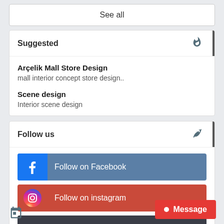See all
Suggested
Arçelik Mall Store Design
mall interior concept store design..
Scene design
Interior scene design
Follow us
Follow on Facebook
Follow on instagram
Admin@northkoala.com
[Figure (illustration): Calendar icon at bottom left]
Message